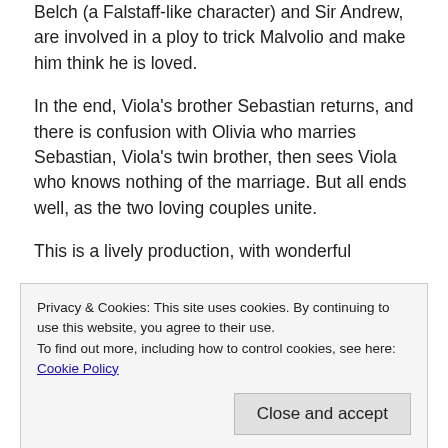Belch (a Falstaff-like character) and Sir Andrew, are involved in a ploy to trick Malvolio and make him think he is loved.
In the end, Viola's brother Sebastian returns, and there is confusion with Olivia who marries Sebastian, Viola's twin brother, then sees Viola who knows nothing of the marriage. But all ends well, as the two loving couples unite.
This is a lively production, with wonderful
Privacy & Cookies: This site uses cookies. By continuing to use this website, you agree to their use.
To find out more, including how to control cookies, see here: Cookie Policy
stage very hard, and the actors all able to keep
humor throughout.